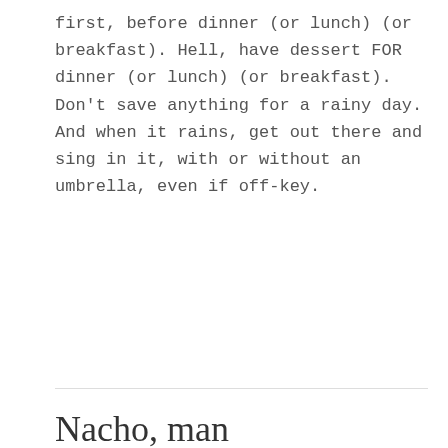first, before dinner (or lunch) (or breakfast). Hell, have dessert FOR dinner (or lunch) (or breakfast). Don't save anything for a rainy day. And when it rains, get out there and sing in it, with or without an umbrella, even if off-key.
Nacho, man
AUGUST 15, 2022 ~ LEAVE A COMMENT
[Figure (photo): Photo of a table with food items including what appears to be a green bowl or avocado, a glass with liquid, and dark objects on a wooden surface.]